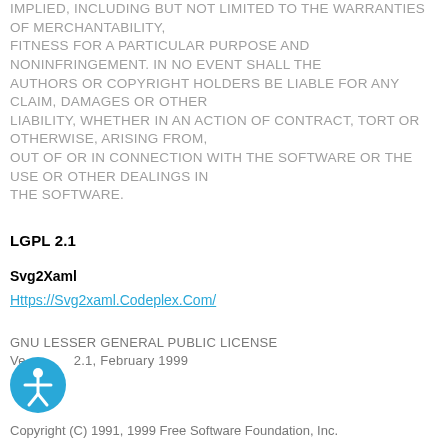IMPLIED, INCLUDING BUT NOT LIMITED TO THE WARRANTIES OF MERCHANTABILITY, FITNESS FOR A PARTICULAR PURPOSE AND NONINFRINGEMENT. IN NO EVENT SHALL THE AUTHORS OR COPYRIGHT HOLDERS BE LIABLE FOR ANY CLAIM, DAMAGES OR OTHER LIABILITY, WHETHER IN AN ACTION OF CONTRACT, TORT OR OTHERWISE, ARISING FROM, OUT OF OR IN CONNECTION WITH THE SOFTWARE OR THE USE OR OTHER DEALINGS IN THE SOFTWARE.
LGPL 2.1
Svg2Xaml
Https://Svg2xaml.Codeplex.Com/
GNU LESSER GENERAL PUBLIC LICENSE
Version 2.1, February 1999
Copyright (C) 1991, 1999 Free Software Foundation, Inc.